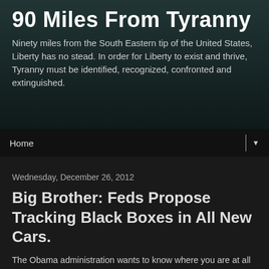90 Miles From Tyranny
Ninety miles from the South Eastern tip of the United States, Liberty has no stead. In order for Liberty to exist and thrive, Tyranny must be identified, recognized, confronted and extinguished.
Home ▼
Wednesday, December 26, 2012
Big Brother: Feds Propose Tracking Black Boxes in All New Cars.
The Obama administration wants to know where you are at all times.
Federal regulators are proposing that new automobiles sold in the United States after September 2014 come equipped